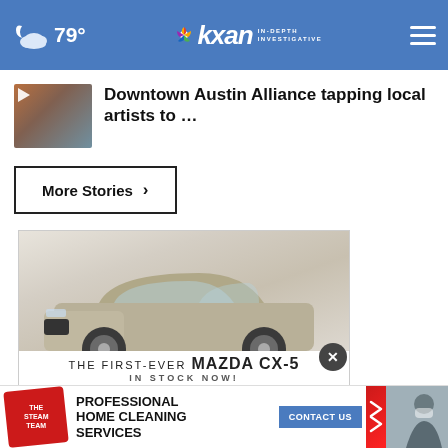79° kxan IN-DEPTH INVESTIGATIVE
Downtown Austin Alliance tapping local artists to …
More Stories ›
[Figure (photo): Advertisement for The First-Ever Mazda CX-5 shown with SUV image and text 'IN STOCK NOW!']
[Figure (photo): Banner advertisement for The Steam Team Professional Home Cleaning Services with Contact Us button]